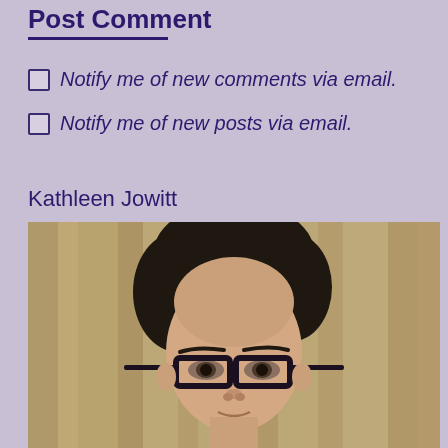Post Comment
Notify me of new comments via email.
Notify me of new posts via email.
Kathleen Jowitt
[Figure (photo): Portrait photo of Kathleen Jowitt, a person with short dark hair and black-framed glasses, photographed in front of a golden/beige curtain background.]